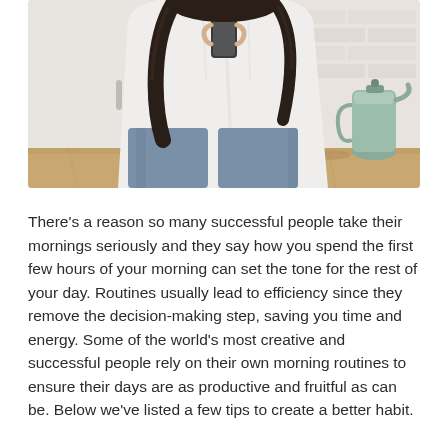[Figure (photo): A woman in a white shirt and blue jeans standing in a kitchen, looking at her phone, with a teal kettle and wooden countertop visible in the background.]
There's a reason so many successful people take their mornings seriously and they say how you spend the first few hours of your morning can set the tone for the rest of your day. Routines usually lead to efficiency since they remove the decision-making step, saving you time and energy. Some of the world's most creative and successful people rely on their own morning routines to ensure their days are as productive and fruitful as can be. Below we've listed a few tips to create a better habit.